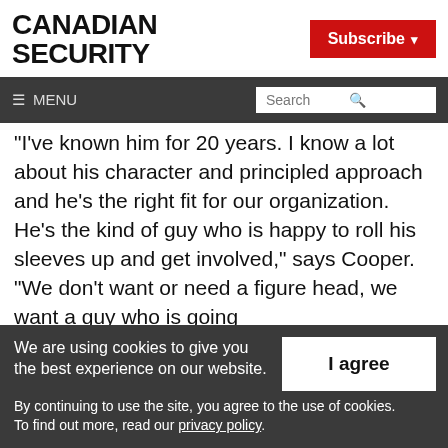CANADIAN SECURITY
Subscribe ▾
≡ MENU  Search 🔍
"I've known him for 20 years. I know a lot about his character and principled approach and he's the right fit for our organization. He's the kind of guy who is happy to roll his sleeves up and get involved," says Cooper. "We don't want or need a figure head, we want a guy who is going
We are using cookies to give you the best experience on our website. By continuing to use the site, you agree to the use of cookies. To find out more, read our privacy policy.
I agree